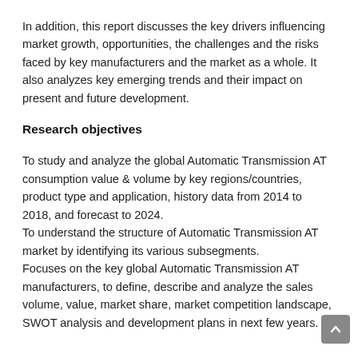In addition, this report discusses the key drivers influencing market growth, opportunities, the challenges and the risks faced by key manufacturers and the market as a whole. It also analyzes key emerging trends and their impact on present and future development.
Research objectives
To study and analyze the global Automatic Transmission AT consumption value & volume by key regions/countries, product type and application, history data from 2014 to 2018, and forecast to 2024.
To understand the structure of Automatic Transmission AT market by identifying its various subsegments.
Focuses on the key global Automatic Transmission AT manufacturers, to define, describe and analyze the sales volume, value, market share, market competition landscape, SWOT analysis and development plans in next few years.